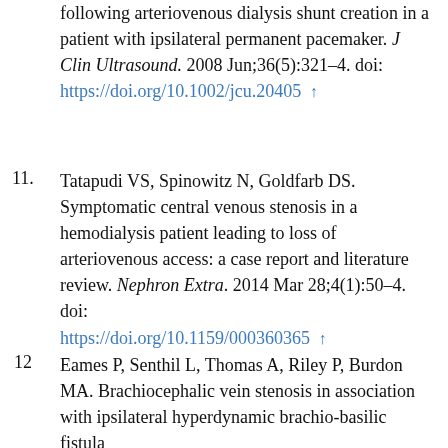following arteriovenous dialysis shunt creation in a patient with ipsilateral permanent pacemaker. J Clin Ultrasound. 2008 Jun;36(5):321–4. doi: https://doi.org/10.1002/jcu.20405 ↑
11. Tatapudi VS, Spinowitz N, Goldfarb DS. Symptomatic central venous stenosis in a hemodialysis patient leading to loss of arteriovenous access: a case report and literature review. Nephron Extra. 2014 Mar 28;4(1):50–4. doi: https://doi.org/10.1159/000360365 ↑
12 Eames P, Senthil L, Thomas A, Riley P, Burdon MA. Brachiocephalic vein stenosis in association with ipsilateral hyperdynamic brachio-basilic fistula